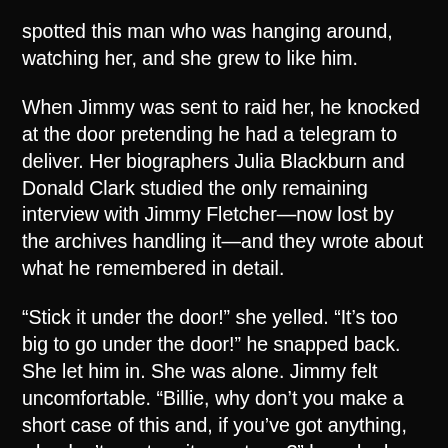spotted this man who was hanging around, watching her, and she grew to like him.
When Jimmy was sent to raid her, he knocked at the door pretending he had a telegram to deliver. Her biographers Julia Blackburn and Donald Clark studied the only remaining interview with Jimmy Fletcher—now lost by the archives handling it—and they wrote about what he remembered in detail.
“Stick it under the door!” she yelled. “It’s too big to go under the door!” he snapped back. She let him in. She was alone. Jimmy felt uncomfortable. “Billie, why don’t you make a short case of this and, if you’ve got anything, why don’t you turn it over to us?” he asked. “Then we won’t be searching around, pulling out your clothes and